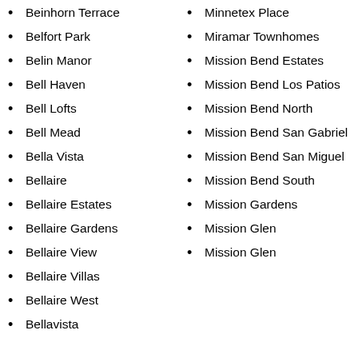Beinhorn Terrace
Belfort Park
Belin Manor
Bell Haven
Bell Lofts
Bell Mead
Bella Vista
Bellaire
Bellaire Estates
Bellaire Gardens
Bellaire View
Bellaire Villas
Bellaire West
Bellavista
Minnetex Place
Miramar Townhomes
Mission Bend Estates
Mission Bend Los Patios
Mission Bend North
Mission Bend San Gabriel
Mission Bend San Miguel
Mission Bend South
Mission Gardens
Mission Glen
Mission Glen